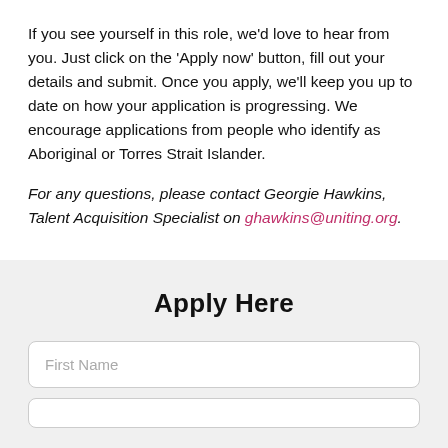If you see yourself in this role, we'd love to hear from you. Just click on the 'Apply now' button, fill out your details and submit. Once you apply, we'll keep you up to date on how your application is progressing. We encourage applications from people who identify as Aboriginal or Torres Strait Islander.
For any questions, please contact Georgie Hawkins, Talent Acquisition Specialist on ghawkins@uniting.org.
Apply Here
First Name